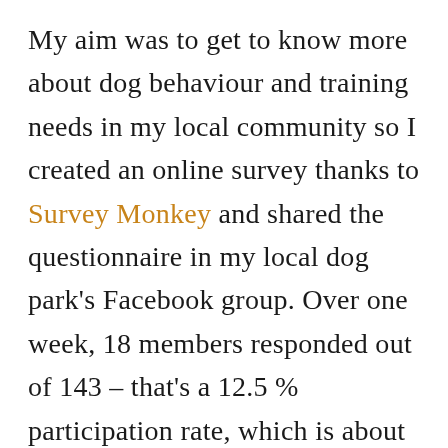My aim was to get to know more about dog behaviour and training needs in my local community so I created an online survey thanks to Survey Monkey and shared the questionnaire in my local dog park's Facebook group. Over one week, 18 members responded out of 143 – that's a 12.5 % participation rate, which is about the average response rate to online surveys. The results of this survey are by no means a reliable indicator of the general public's opinion and experience, but it gave me a good indication of local dog issues and